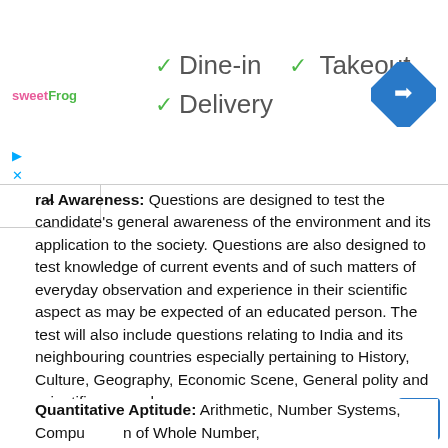[Figure (screenshot): Ad banner showing sweetFrog logo with Dine-in, Takeout, Delivery checkmarks and a map directions icon]
General Awareness: Questions are designed to test the candidate's general awareness of the environment and its application to the society. Questions are also designed to test knowledge of current events and of such matters of everyday observation and experience in their scientific aspect as may be expected of an educated person. The test will also include questions relating to India and its neighbouring countries especially pertaining to History, Culture, Geography, Economic Scene, General polity and scientific research.
Quantitative Aptitude: Arithmetic, Number Systems, Computation of Whole Number,